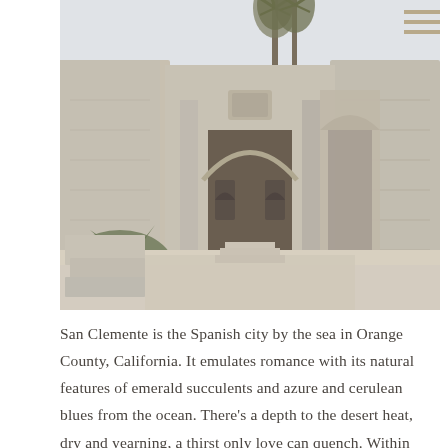[Figure (photo): Photograph of ancient stone mission ruins with a large central arch and ornate facade, flanked by crumbling stone walls. Two palm trees are visible in the background against a pale sky. The courtyard floor is sandy.]
San Clemente is the Spanish city by the sea in Orange County, California. It emulates romance with its natural features of emerald succulents and azure and cerulean blues from the ocean. There's a depth to the desert heat, dry and yearning, a thirst only love can quench. Within this quiet,